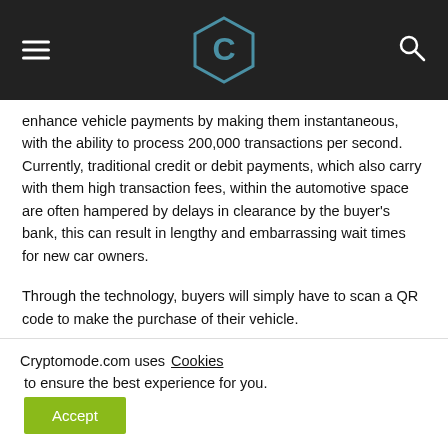Cryptomode logo header with hamburger menu and search icon
enhance vehicle payments by making them instantaneous, with the ability to process 200,000 transactions per second. Currently, traditional credit or debit payments, which also carry with them high transaction fees, within the automotive space are often hampered by delays in clearance by the buyer's bank, this can result in lengthy and embarrassing wait times for new car owners.
Through the technology, buyers will simply have to scan a QR code to make the purchase of their vehicle.
Ezeldin continued: “The Auto Coin is solving the ‘now’ issue
Cryptomode.com uses Cookies to ensure the best experience for you.